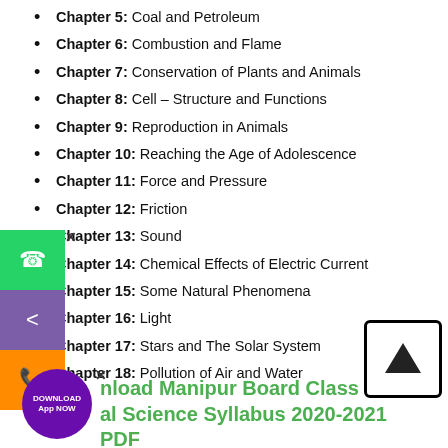Chapter 5: Coal and Petroleum
Chapter 6: Combustion and Flame
Chapter 7: Conservation of Plants and Animals
Chapter 8: Cell – Structure and Functions
Chapter 9: Reproduction in Animals
Chapter 10: Reaching the Age of Adolescence
Chapter 11: Force and Pressure
Chapter 12: Friction
Chapter 13: Sound
Chapter 14: Chemical Effects of Electric Current
Chapter 15: Some Natural Phenomena
Chapter 16: Light
Chapter 17: Stars and The Solar System
Chapter 18: Pollution of Air and Water
Download Manipur Board Class 8 Natural Science Syllabus 2020-2021 PDF